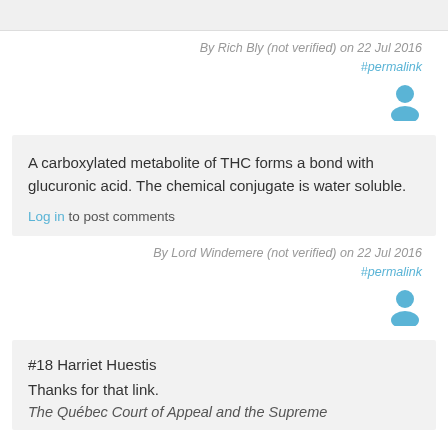By Rich Bly (not verified) on 22 Jul 2016
#permalink
A carboxylated metabolite of THC forms a bond with glucuronic acid. The chemical conjugate is water soluble.
Log in to post comments
By Lord Windemere (not verified) on 22 Jul 2016
#permalink
#18 Harriet Huestis
Thanks for that link.
The Québec Court of Appeal and the Supreme